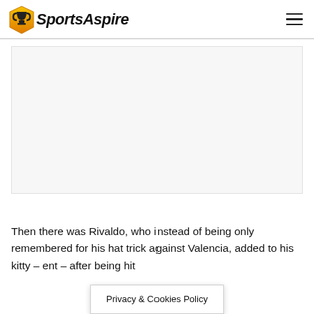SportsAspire
[Figure (other): Advertisement/empty content area placeholder]
Then there was Rivaldo, who instead of being only remembered for his hat trick against Valencia, added to his kitty – ent – after being hit
Privacy & Cookies Policy